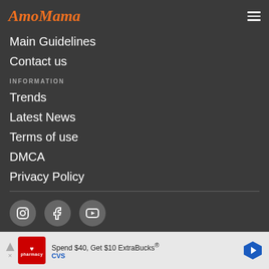AmoMama
Main Guidelines
Contact us
INFORMATION
Trends
Latest News
Terms of use
DMCA
Privacy Policy
[Figure (other): Social media icon buttons: Instagram, Facebook, YouTube]
[Figure (other): CVS advertisement banner: Spend $40, Get $10 ExtraBucks® CVS]